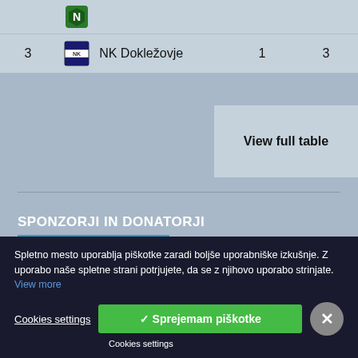| # | Team |  |  |
| --- | --- | --- | --- |
| 3 | NK Dokležovje | 1 | 3 |
View full table
SPONZORJI IN DONATORJI
Spletno mesto uporablja piškotke zaradi boljše uporabniške izkušnje. Z uporabo naše spletne strani potrjujete, da se z njihovo uporabo strinjate. View more
Cookies settings
✓ Sprejemam piškotke
Cookies settings